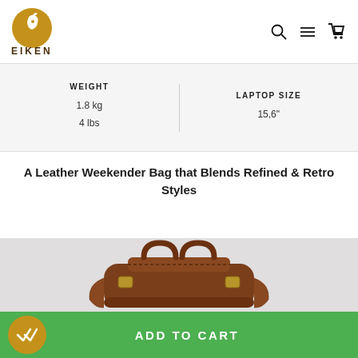EIKEN — navigation header with logo, search, menu, and cart icons
| WEIGHT | LAPTOP SIZE |
| --- | --- |
| 1.8 kg
4 lbs | 15,6" |
A Leather Weekender Bag that Blends Refined & Retro Styles
[Figure (photo): Brown leather weekender bag with top handles and buckle detail, shown against a light gray background]
ADD TO CART